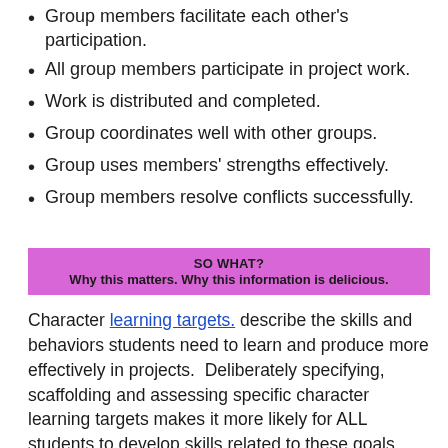Group members facilitate each other's participation.
All group members participate in project work.
Work is distributed and completed.
Group coordinates well with other groups.
Group uses members' strengths effectively.
Group members resolve conflicts successfully.
SO WHAT?
Why this matters. Why this information is delicious.
Character learning targets. describe the skills and behaviors students need to learn and produce more effectively in projects.  Deliberately specifying, scaffolding and assessing specific character learning targets makes it more likely for ALL students to develop skills related to these goals.